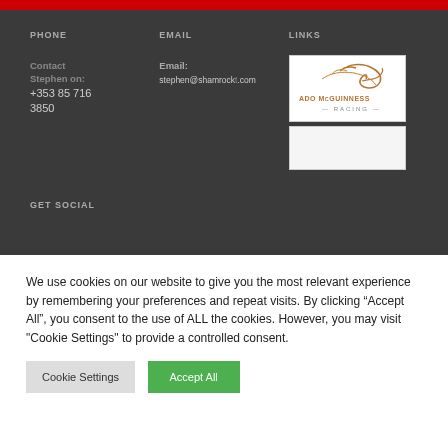PHONE
EMAIL
LINKS
Contact Stephen on: +353 85 716 3850
Email: stephen@shamrock[...].com
[Figure (logo): Ado McGuinness Racing logo with horse silhouette]
[Figure (logo): Second logo box (partially visible)]
GET SOCIAL
We use cookies on our website to give you the most relevant experience by remembering your preferences and repeat visits. By clicking “Accept All”, you consent to the use of ALL the cookies. However, you may visit "Cookie Settings" to provide a controlled consent.
Cookie Settings   Accept All